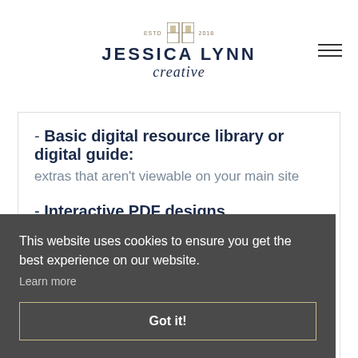JESSICA LYNN creative
- Basic digital resource library or digital guide: extras that aren't viewable on your main site
- Interactive PDF designs
This website uses cookies to ensure you get the best experience on our website.
Learn more
Got it!